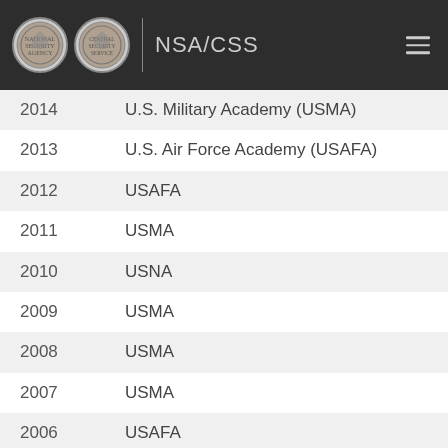NSA/CSS
| Year | Institution |
| --- | --- |
| 2014 | U.S. Military Academy (USMA) |
| 2013 | U.S. Air Force Academy (USAFA) |
| 2012 | USAFA |
| 2011 | USMA |
| 2010 | USNA |
| 2009 | USMA |
| 2008 | USMA |
| 2007 | USMA |
| 2006 | USAFA |
| 2005 | USNA |
| 2004 | U.S. Merchant Marine Academy |
| 2003 | USAFA |
| 2002 | USMA |
| 2001 | USMA |